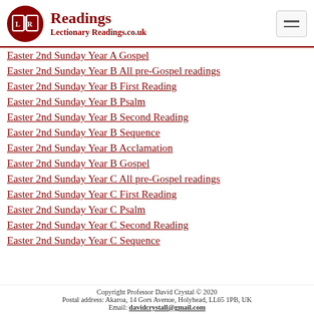Readings — LectionaryReadings.co.uk
Easter 2nd Sunday Year A Gospel
Easter 2nd Sunday Year B All pre-Gospel readings
Easter 2nd Sunday Year B First Reading
Easter 2nd Sunday Year B Psalm
Easter 2nd Sunday Year B Second Reading
Easter 2nd Sunday Year B Sequence
Easter 2nd Sunday Year B Acclamation
Easter 2nd Sunday Year B Gospel
Easter 2nd Sunday Year C All pre-Gospel readings
Easter 2nd Sunday Year C First Reading
Easter 2nd Sunday Year C Psalm
Easter 2nd Sunday Year C Second Reading
Easter 2nd Sunday Year C Sequence
Copyright Professor David Crystal © 2020
Postal address: Akaroa, 14 Gors Avenue, Holyhead, LL65 1PB, UK
Email: davidcrystall@gmail.com